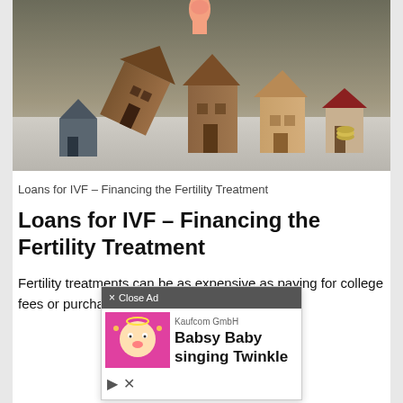[Figure (photo): Photograph of small wooden house figurines on a table with a hand touching/knocking one over, illustrating housing or loans concept.]
Loans for IVF – Financing the Fertility Treatment
Loans for IVF – Financing the Fertility Treatment
Fertility treatments can be as expensive as paying for college fees or purchasing a new car, for which ans.
[Figure (screenshot): Ad overlay showing 'Close Ad' button, Kaufcom GmbH label, and 'Babsy Baby singing Twinkle' advertisement with pink baby graphic.]